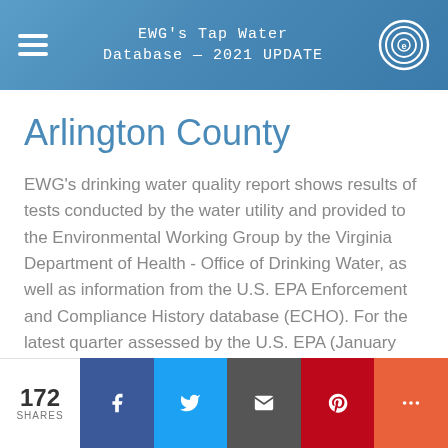EWG's Tap Water Database — 2021 UPDATE
Arlington County
EWG's drinking water quality report shows results of tests conducted by the water utility and provided to the Environmental Working Group by the Virginia Department of Health - Office of Drinking Water, as well as information from the U.S. EPA Enforcement and Compliance History database (ECHO). For the latest quarter assessed by the U.S. EPA (January 2021 - March 2021), tap water provided by this water utility was in
172 SHARES